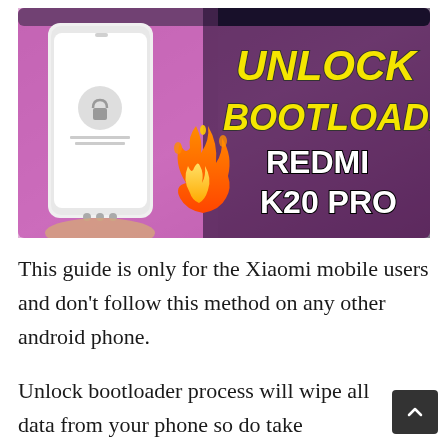[Figure (photo): Thumbnail image showing a hand holding a Xiaomi smartphone with text overlay 'UNLOCK BOOTLOADER REDMI K20 PRO' in bold yellow and white letters on a purple/pink background, with a fire emoji in the center.]
This guide is only for the Xiaomi mobile users and don't follow this method on any other android phone.
Unlock bootloader process will wipe all data from your phone so do take the backup